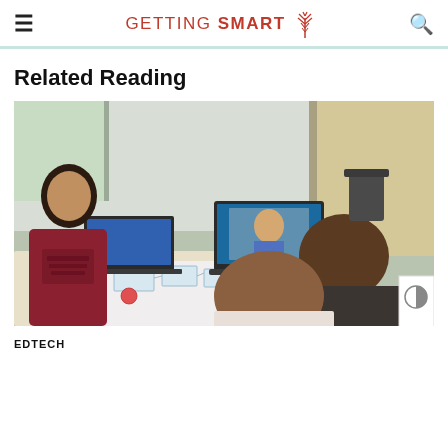GETTING SMART
Related Reading
[Figure (photo): Students sitting around a table with laptops and hand-drawn diagrams, with a video call visible on one of the laptop screens. One student in a maroon hoodie faces the camera while others look at the table.]
EDTECH